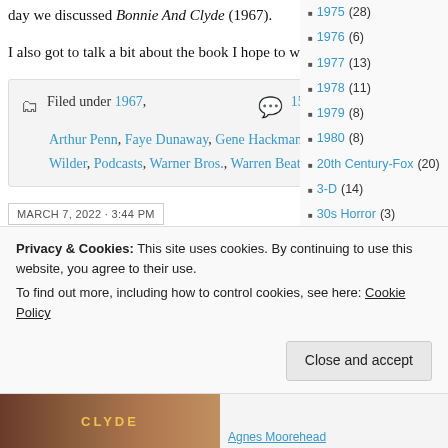day we discussed Bonnie And Clyde (1967).
I also got to talk a bit about the book I hope to write about it.
Filed under 1967, Arthur Penn, Faye Dunaway, Gene Hackman, Gene Wilder, Podcasts, Warner Bros., Warren Beatty | 15 Comments
MARCH 7, 2022 · 3:44 PM
1975 (28)
1976 (6)
1977 (13)
1978 (11)
1979 (8)
1980 (8)
20th Century-Fox (20)
3-D (14)
30s Horror (3)
4K (1)
70mm (1)
A Night At The Movies (3)
Privacy & Cookies: This site uses cookies. By continuing to use this website, you agree to their use. To find out more, including how to control cookies, see here: Cookie Policy
Close and accept
[Figure (photo): Bottom strip showing movie poster for Bonnie and Clyde with 'CLYDE' text visible]
Agnes Moorehead